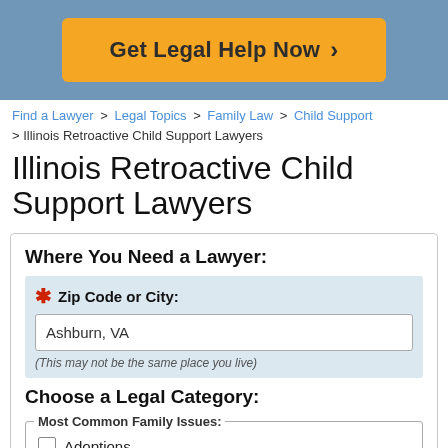[Figure (other): Blue banner with orange 'Get Legal Help Now >' button]
Find a Lawyer > Legal Topics > Family Law > Child Support > Illinois Retroactive Child Support Lawyers
Illinois Retroactive Child Support Lawyers
Where You Need a Lawyer:
* Zip Code or City: Ashburn, VA (This may not be the same place you live)
Choose a Legal Category:
Most Common Family Issues:
Adoptions